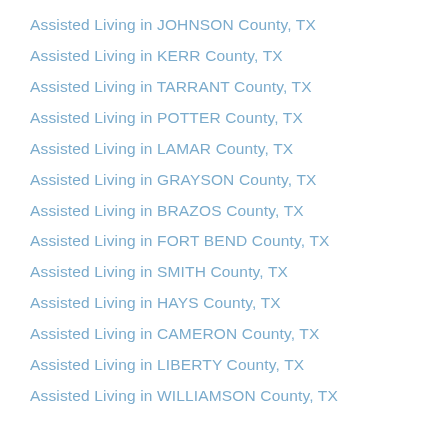Assisted Living in JOHNSON County, TX
Assisted Living in KERR County, TX
Assisted Living in TARRANT County, TX
Assisted Living in POTTER County, TX
Assisted Living in LAMAR County, TX
Assisted Living in GRAYSON County, TX
Assisted Living in BRAZOS County, TX
Assisted Living in FORT BEND County, TX
Assisted Living in SMITH County, TX
Assisted Living in HAYS County, TX
Assisted Living in CAMERON County, TX
Assisted Living in LIBERTY County, TX
Assisted Living in WILLIAMSON County, TX